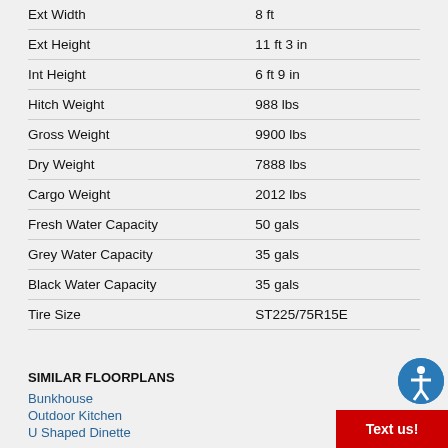| Specification | Value |
| --- | --- |
| Ext Width | 8 ft |
| Ext Height | 11 ft 3 in |
| Int Height | 6 ft 9 in |
| Hitch Weight | 988 lbs |
| Gross Weight | 9900 lbs |
| Dry Weight | 7888 lbs |
| Cargo Weight | 2012 lbs |
| Fresh Water Capacity | 50 gals |
| Grey Water Capacity | 35 gals |
| Black Water Capacity | 35 gals |
| Tire Size | ST225/75R15E |
SIMILAR FLOORPLANS
Bunkhouse
Outdoor Kitchen
U Shaped Dinette